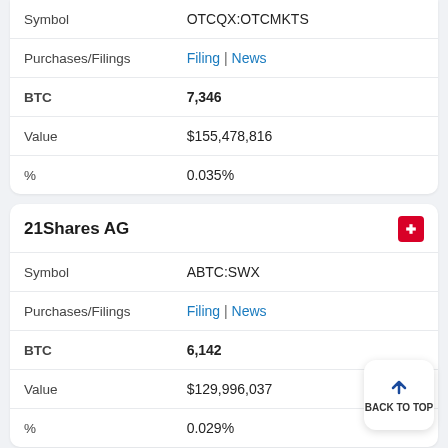|  |  |
| --- | --- |
| Symbol | OTCQX:OTCMKTS |
| Purchases/Filings | Filing | News |
| BTC | 7,346 |
| Value | $155,478,816 |
| % | 0.035% |
21Shares AG
|  |  |
| --- | --- |
| Symbol | ABTC:SWX |
| Purchases/Filings | Filing | News |
| BTC | 6,142 |
| Value | $129,996,037 |
| % | 0.029% |